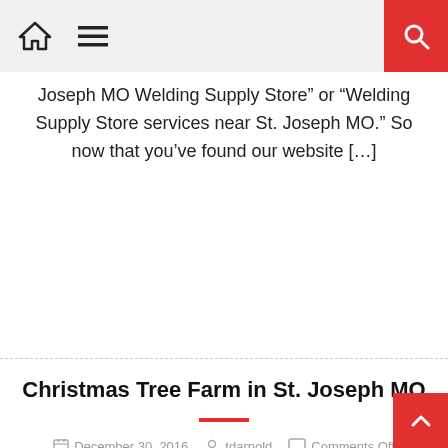Navigation bar with home, menu icons and search button
Joseph MO Welding Supply Store” or “Welding Supply Store services near St. Joseph MO.” So now that you’ve found our website [...]
Christmas Tree Farm in St. Joseph MO
December 30, 2016   tdarnold   Comments Off
Christmas Tree Farm in St. Joseph MO If you live in or near St. Joseph MO and are looking for looking for Christmas Tree Farm online, then you probably searched for something like “St. Joseph MO Christmas Tree Farm” or “Christmas Tree Farm services near St. Joseph MO.” So now that you’ve found our